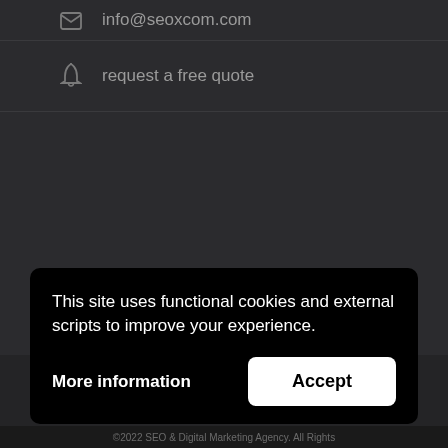info@seoxcom.com
request a free quote
[Figure (screenshot): Social media icons row 1: Twitter, Facebook, YouTube, Pinterest, LinkedIn]
[Figure (screenshot): Social media icons row 2: Instagram, GitHub/Octocat, Flickr]
This site uses functional cookies and external scripts to improve your experience.
More information
Accept
©2022 SEO & Digital Marketing Agency. All Rights